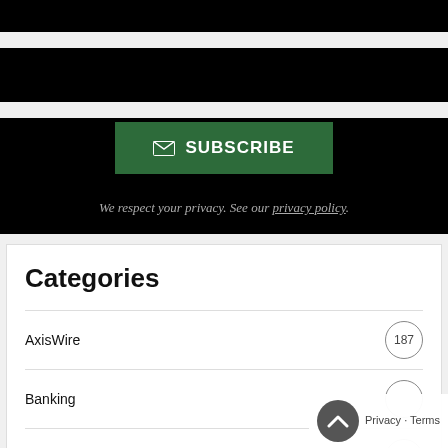Choose Your News
Subscribe to the Green Market Report newsletter that gives you original content delivered straight to your inbox.
SUBSCRIBE
We respect your privacy. See our privacy policy.
Categories
AxisWire 187
Banking
Book Review 62